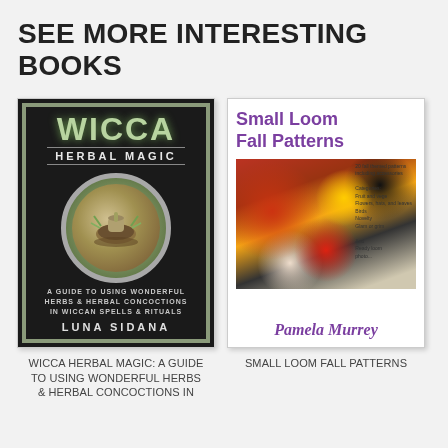SEE MORE INTERESTING BOOKS
[Figure (illustration): Book cover: WICCA HERBAL MAGIC - A GUIDE TO USING WONDERFUL HERBS & HERBAL CONCOCTIONS IN WICCAN SPELLS & RITUALS by LUNA SIDANA. Dark background with ornate border, herbs and mortar in circular frame.]
[Figure (illustration): Book cover: Small Loom Fall Patterns by Pamela Murrey. White cover with purple title text, photo of small loom knitted figures and decorations.]
WICCA HERBAL MAGIC: A GUIDE TO USING WONDERFUL HERBS & HERBAL CONCOCTIONS IN
SMALL LOOM FALL PATTERNS